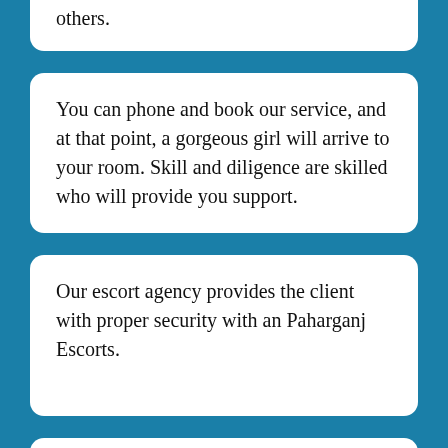others.
You can phone and book our service, and at that point, a gorgeous girl will arrive to your room. Skill and diligence are skilled who will provide you support.
Our escort agency provides the client with proper security with an Paharganj Escorts.
Female Escorts in Paharganj operating with us never share the identity of a client with